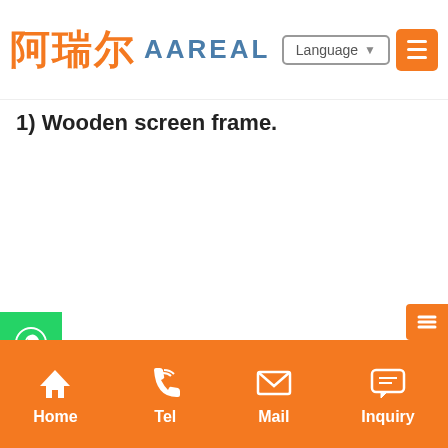阿瑞尔 AAREAL | Language ▼ ☰
1) Wooden screen frame.
Home | Tel | Mail | Inquiry